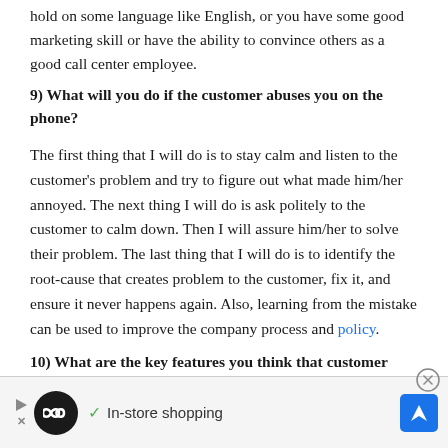hold on some language like English, or you have some good marketing skill or have the ability to convince others as a good call center employee.
9) What will you do if the customer abuses you on the phone?
The first thing that I will do is to stay calm and listen to the customer's problem and try to figure out what made him/her annoyed. The next thing I will do is ask politely to the customer to calm down. Then I will assure him/her to solve their problem. The last thing that I will do is to identify the root-cause that creates problem to the customer, fix it, and ensure it never happens again. Also, learning from the mistake can be used to improve the company process and policy.
10) What are the key features you think that customer
[Figure (other): Advertisement banner showing in-store shopping promotion with circular logo icon, checkmark, text 'In-store shopping', and blue navigation arrow icon. Includes close button and play/stop controls.]